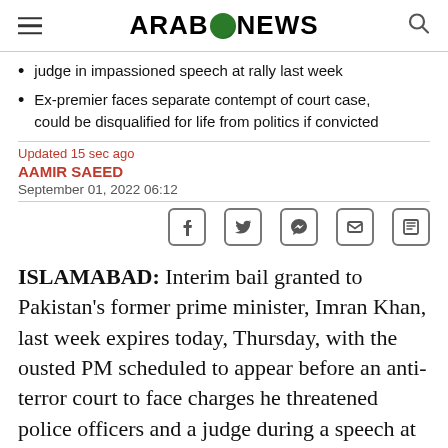ARAB NEWS
judge in impassioned speech at rally last week
Ex-premier faces separate contempt of court case, could be disqualified for life from politics if convicted
Updated 15 sec ago
AAMIR SAEED
September 01, 2022 06:12
ISLAMABAD: Interim bail granted to Pakistan's former prime minister, Imran Khan, last week expires today, Thursday, with the ousted PM scheduled to appear before an anti-terror court to face charges he threatened police officers and a judge during a speech at a rally last month.
Khan was due to be at the court's...